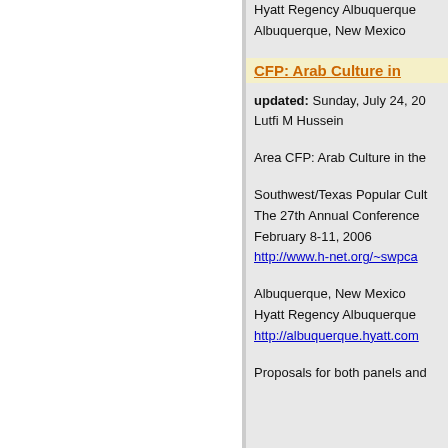Hyatt Regency Albuquerque
Albuquerque, New Mexico
CFP: Arab Culture in
updated: Sunday, July 24, 20
Lutfi M Hussein
Area CFP: Arab Culture in the
Southwest/Texas Popular Cult
The 27th Annual Conference
February 8-11, 2006
http://www.h-net.org/~swpca
Albuquerque, New Mexico
Hyatt Regency Albuquerque
http://albuquerque.hyatt.com
Proposals for both panels and